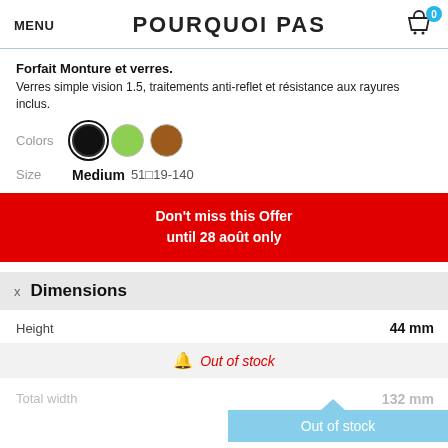MENU  POURQUOI PAS  0
Forfait Monture et verres.
Verres simple vision 1.5, traitements anti-reflet et résistance aux rayures inclus.
Colors  [black] [green] [brown]
Size  Medium  51□19-140
Don't miss this Offer
until 28 août only
x  Dimensions
Height  44 mm
Out of stock
Total width  132 mm
Out of stock